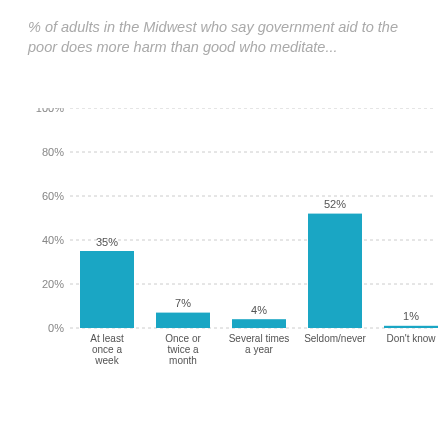% of adults in the Midwest who say government aid to the poor does more harm than good who meditate...
[Figure (bar-chart): % of adults in the Midwest who say government aid to the poor does more harm than good who meditate...]